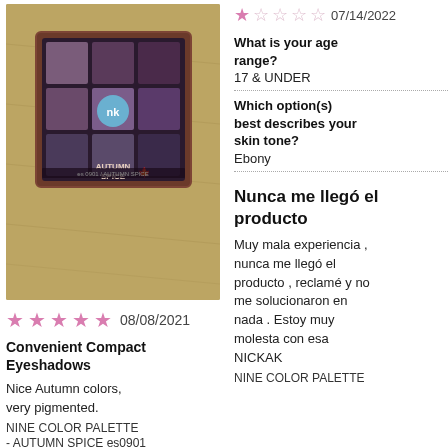[Figure (photo): Photo of NK Autumn Spice nine-color eye shadow palette compact on a golden fabric background]
★★★★★ 08/08/2021
Convenient Compact Eyeshadows
Nice Autumn colors, very pigmented.
NINE COLOR PALETTE
- AUTUMN SPICE es0901
★☆☆☆☆ 07/14/2022
What is your age range?
17 & UNDER
Which option(s) best describes your skin tone?
Ebony
Nunca me llegó el producto
Muy mala experiencia , nunca me llegó el producto , reclamé y no me solucionaron en nada . Estoy muy molesta con esa NICKAK
NINE COLOR PALETTE